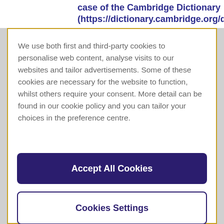case of the Cambridge Dictionary (https://dictionary.cambridge.org/dictionary/en
We use both first and third-party cookies to personalise web content, analyse visits to our websites and tailor advertisements. Some of these cookies are necessary for the website to function, whilst others require your consent. More detail can be found in our cookie policy and you can tailor your choices in the preference centre.
Accept All Cookies
Cookies Settings